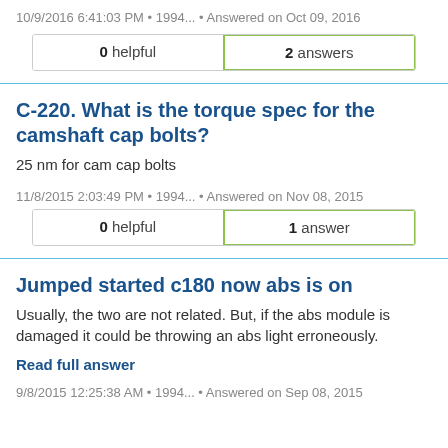10/9/2016 6:41:03 PM • 1994... • Answered on Oct 09, 2016
| 0 helpful | 2 answers |
| --- | --- |
C-220. What is the torque spec for the camshaft cap bolts?
25 nm for cam cap bolts
11/8/2015 2:03:49 PM • 1994... • Answered on Nov 08, 2015
| 0 helpful | 1 answer |
| --- | --- |
Jumped started c180 now abs is on
Usually, the two are not related. But, if the abs module is damaged it could be throwing an abs light erroneously.
Read full answer
9/8/2015 12:25:38 AM • 1994... • Answered on Sep 08, 2015